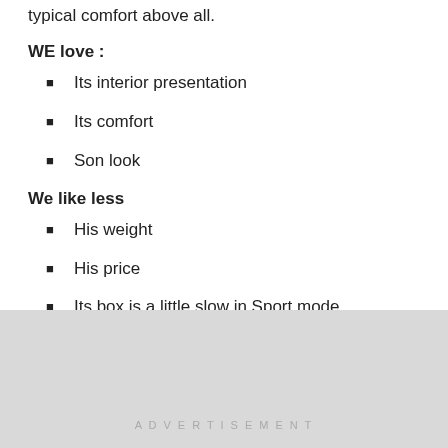typical comfort above all.
WE love :
Its interior presentation
Its comfort
Son look
We like less
His weight
His price
Its box is a little slow in Sport mode
ADVERTISEMENT